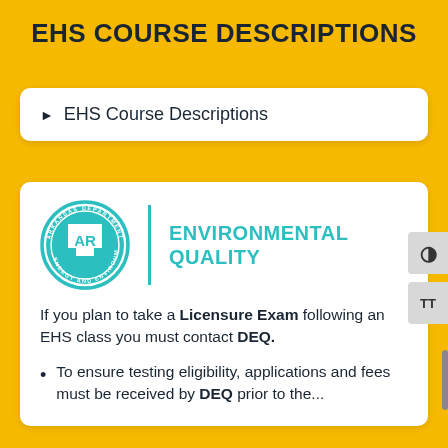EHS COURSE DESCRIPTIONS
EHS Course Descriptions
[Figure (logo): Arkansas Department of Energy and Environment seal/logo (circular teal badge with AR state outline) alongside teal vertical divider and text reading ENVIRONMENTAL QUALITY]
If you plan to take a Licensure Exam following an EHS class you must contact DEQ.
To ensure testing eligibility, applications and fees must be received by DEQ prior to the...